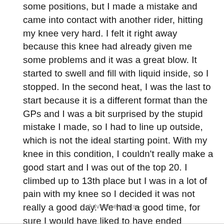some positions, but I made a mistake and came into contact with another rider, hitting my knee very hard. I felt it right away because this knee had already given me some problems and it was a great blow. It started to swell and fill with liquid inside, so I stopped. In the second heat, I was the last to start because it is a different format than the GPs and I was a bit surprised by the stupid mistake I made, so I had to line up outside, which is not the ideal starting point. With my knee in this condition, I couldn't really make a good start and I was out of the top 20. I climbed up to 13th place but I was in a lot of pain with my knee so I decided it was not really a good day. We had a good time, for sure I would have liked to have ended differently, but that's okay. We're not too battered, it was just a bad day. “
--Advertisements--